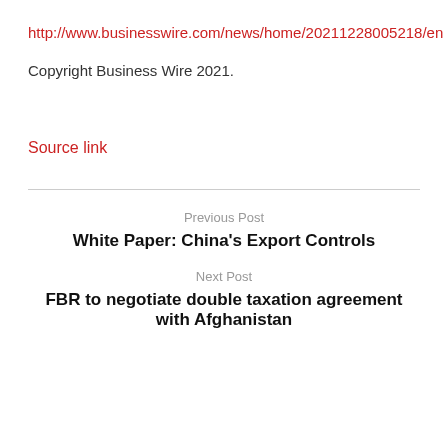http://www.businesswire.com/news/home/20211228005218/en
Copyright Business Wire 2021.
Source link
Previous Post
White Paper: China's Export Controls
Next Post
FBR to negotiate double taxation agreement with Afghanistan